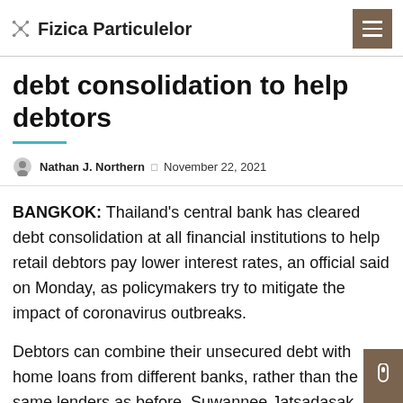Fizica Particulelor
debt consolidation to help debtors
Nathan J. Northern   November 22, 2021
BANGKOK: Thailand's central bank has cleared debt consolidation at all financial institutions to help retail debtors pay lower interest rates, an official said on Monday, as policymakers try to mitigate the impact of coronavirus outbreaks.
Debtors can combine their unsecured debt with home loans from different banks, rather than the same lenders as before, Suwannee Jatsadasak, senior manager of the